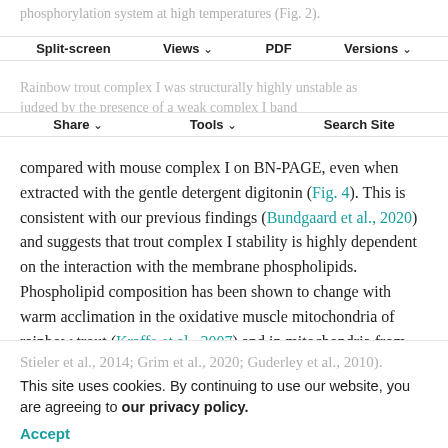phosphorylation system at high temperatures (Fig. 2).
Split-screen   Views   PDF   Versions
Rainbow trout complex I was structurally highly unstable as judged by the presence of a weak complex I band
Share   Tools   Search Site
compared with mouse complex I on BN-PAGE, even when extracted with the gentle detergent digitonin (Fig. 4). This is consistent with our previous findings (Bundgaard et al., 2020) and suggests that trout complex I stability is highly dependent on the interaction with the membrane phospholipids. Phospholipid composition has been shown to change with warm acclimation in the oxidative muscle mitochondria of rainbow trout (Kraffe et al., 2007) and in mitochondria from other species (Chung et al., 2018;
Stieler et al., 2014; Grim et al., 2020; Guderley et al., 2010). This site uses cookies. By continuing to use our website, you are agreeing to our privacy policy. Accept ... ally important phospholipid cardiolipin (Baker et al. 2013; 2019), with acclimation-related changes...